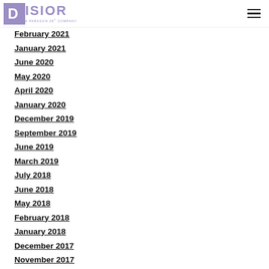DISIOR — A Paragon 28 Company
February 2021
January 2021
June 2020
May 2020
April 2020
January 2020
December 2019
September 2019
June 2019
March 2019
July 2018
June 2018
May 2018
February 2018
January 2018
December 2017
November 2017